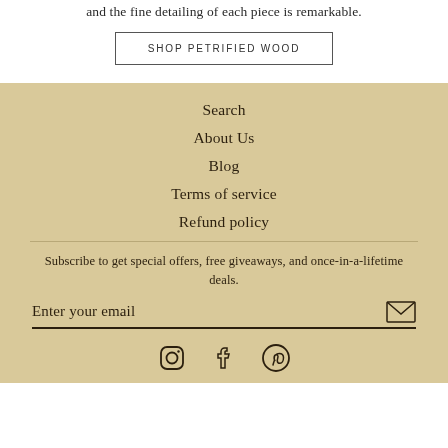and the fine detailing of each piece is remarkable.
SHOP PETRIFIED WOOD
Search
About Us
Blog
Terms of service
Refund policy
Subscribe to get special offers, free giveaways, and once-in-a-lifetime deals.
Enter your email